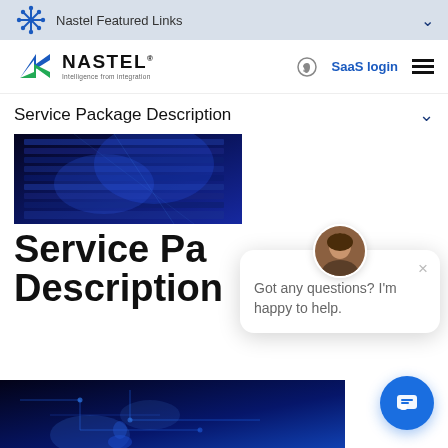Nastel Featured Links
[Figure (logo): Nastel Technologies logo with arrow icon and tagline 'Intelligence from integration']
SaaS login
Service Package Description
[Figure (photo): Blue-toned data center server rack photo]
Service Package Description
[Figure (screenshot): Chat popup with avatar showing 'Got any questions? I'm happy to help.']
[Figure (photo): Blue circuit board technology photo, bottom of page]